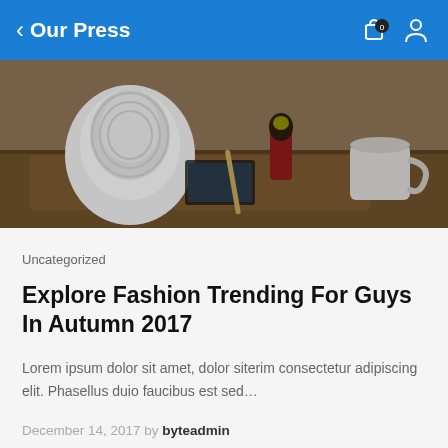Our Press
[Figure (photo): A desktop scene with objects including a white speaker/device, a small figurine, and a mug on a wooden surface, blurred background]
Uncategorized
Explore Fashion Trending For Guys In Autumn 2017
Lorem ipsum dolor sit amet, dolor siterim consectetur adipiscing elit. Phasellus duio faucibus est sed…
December 14, 2017 by byteadmin